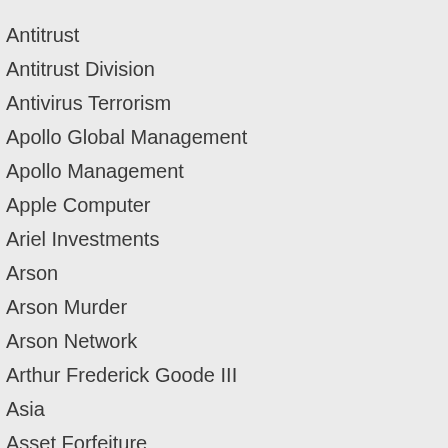Antitrust
Antitrust Division
Antivirus Terrorism
Apollo Global Management
Apollo Management
Apple Computer
Ariel Investments
Arson
Arson Murder
Arson Network
Arthur Frederick Goode III
Asia
Asset Forfeiture
Asset Managers
AT&T
AT&T T-Mobile M…